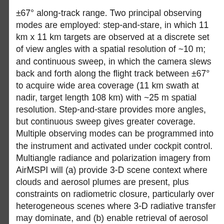±67° along-track range. Two principal observing modes are employed: step-and-stare, in which 11 km x 11 km targets are observed at a discrete set of view angles with a spatial resolution of ~10 m; and continuous sweep, in which the camera slews back and forth along the flight track between ±67° to acquire wide area coverage (11 km swath at nadir, target length 108 km) with ~25 m spatial resolution. Step-and-stare provides more angles, but continuous sweep gives greater coverage. Multiple observing modes can be programmed into the instrument and activated under cockpit control. Multiangle radiance and polarization imagery from AirMSPI will (a) provide 3-D scene context where clouds and aerosol plumes are present, plus constraints on radiometric closure, particularly over heterogeneous scenes where 3-D radiative transfer may dominate, and (b) enable retrieval of aerosol and cloud macrophysical properties (distribution, height), microphysical